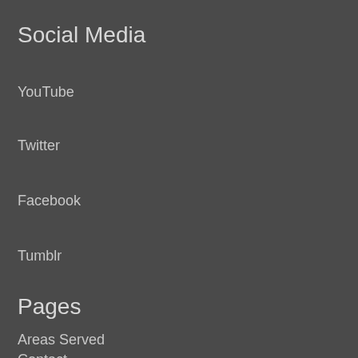Social Media
YouTube
Twitter
Facebook
Tumblr
Pages
Areas Served
Contact